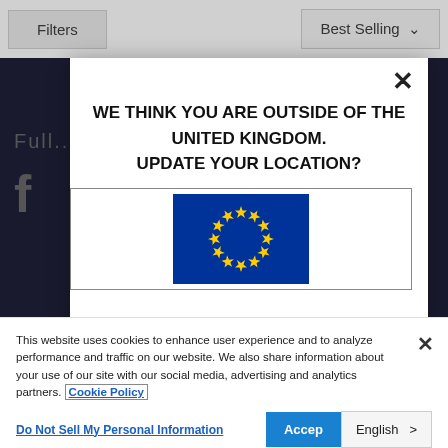[Figure (screenshot): Top navigation filter bar with 'Filters' button and 'Best Selling' dropdown sort option on grey background]
[Figure (screenshot): Dark product listing page background with partial text 'full...' and Facebook icon in grey]
[Figure (screenshot): Modal popup with text 'WE THINK YOU ARE OUTSIDE OF THE UNITED KINGDOM. UPDATE YOUR LOCATION?' with close X button and EU flag in a bordered box]
This website uses cookies to enhance user experience and to analyze performance and traffic on our website. We also share information about your use of our site with our social media, advertising and analytics partners. Cookie Policy
Do Not Sell My Personal Information
Accept
English >